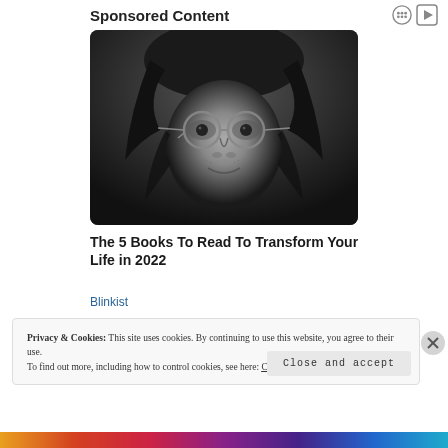Sponsored Content
[Figure (photo): Black and white close-up portrait of a young man with round glasses and long hair, looking directly at camera]
The 5 Books To Read To Transform Your Life in 2022
Blinkist
Privacy & Cookies: This site uses cookies. By continuing to use this website, you agree to their use.
To find out more, including how to control cookies, see here: Cookie Policy
Close and accept